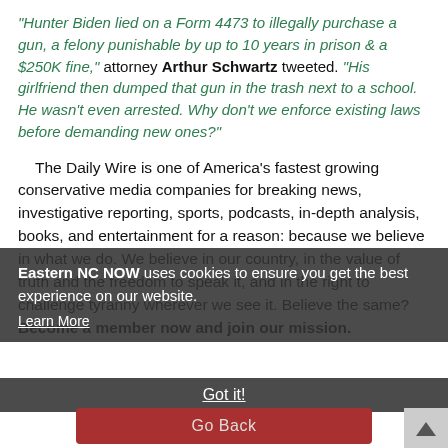"Hunter Biden lied on a Form 4473 to illegally purchase a gun, a felony punishable by up to 10 years in prison & a $250K fine," attorney Arthur Schwartz tweeted. "His girlfriend then dumped that gun in the trash next to a school. He wasn't even arrested. Why don't we enforce existing laws before demanding new ones?"
The Daily Wire is one of America's fastest growing conservative media companies for breaking news, investigative reporting, sports, podcasts, in-depth analysis, books, and entertainment for a reason: because we believe in what we do. We believe in our country, in the value of truth and the freedom to speak it, and in the right to challenge tyranny wherever we see it. Believe the same? Become a member now and join our mission.
Eastern NC NOW uses cookies to ensure you get the best experience on our website. Learn More
Got it!
Go Back